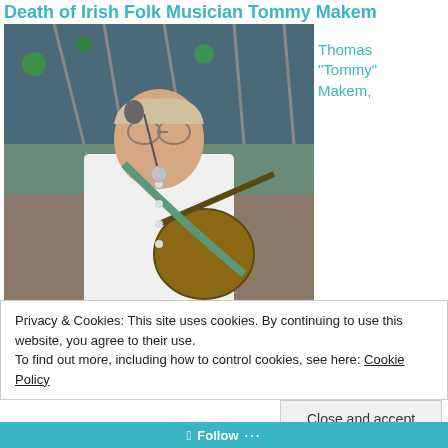Death of Irish Folk Musician Tommy Makem
[Figure (photo): Photograph of Tommy Makem performing on stage, playing a banjo, wearing a white shirt and glasses, with a microphone stand in front of him and stage rigging in the background.]
Thomas “Tommy” Makem,
Privacy & Cookies: This site uses cookies. By continuing to use this website, you agree to their use.
To find out more, including how to control cookies, see here: Cookie Policy
Close and accept
Follow